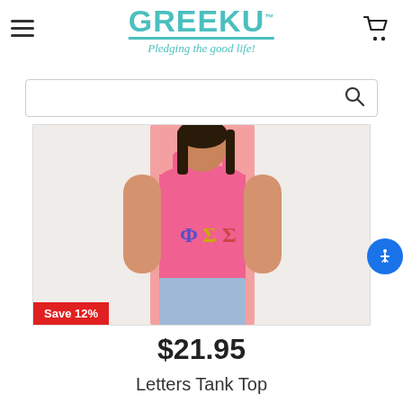GreekU - Pledging the good life!
[Figure (screenshot): Search bar with magnifying glass icon]
[Figure (photo): Woman wearing a pink tank top with Greek letters (ΦΣΣ) in colorful floral design, paired with light blue jeans. A red badge reads 'Save 12%' at the bottom left of the image.]
$21.95
Letters Tank Top